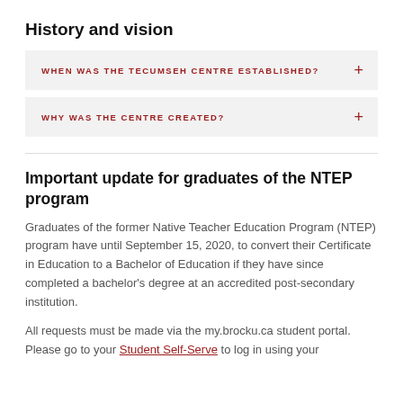History and vision
WHEN WAS THE TECUMSEH CENTRE ESTABLISHED?
WHY WAS THE CENTRE CREATED?
Important update for graduates of the NTEP program
Graduates of the former Native Teacher Education Program (NTEP) program have until September 15, 2020, to convert their Certificate in Education to a Bachelor of Education if they have since completed a bachelor's degree at an accredited post-secondary institution.
All requests must be made via the my.brocku.ca student portal. Please go to your Student Self-Serve to log in using your